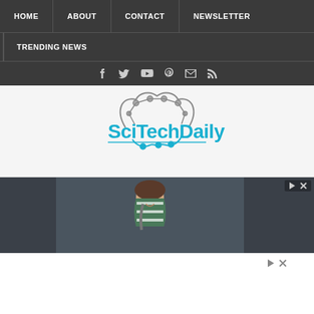HOME | ABOUT | CONTACT | NEWSLETTER | TRENDING NEWS
[Figure (logo): SciTechDaily logo with stylized brain/circuit graphic above the blue text 'SciTechDaily']
[Figure (photo): Advertisement banner showing a young woman in a striped shirt standing against a dark background, with ad controls (play and close buttons) in the top right corner]
[Figure (other): Secondary advertisement controls with play and close icons]
[Figure (other): Small 'x' symbol at bottom center of page]